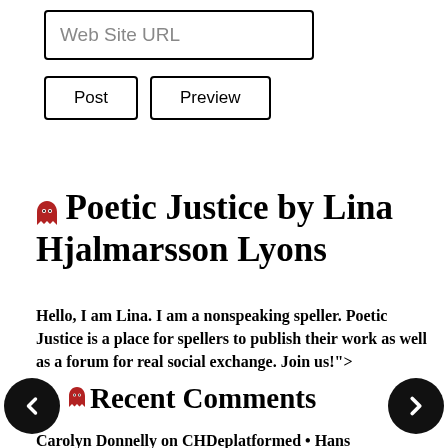[Figure (screenshot): Web Site URL input text box]
[Figure (screenshot): Post and Preview buttons]
Poetic Justice by Lina Hjalmarsson Lyons
Hello, I am Lina. I am a nonspeaking speller. Poetic Justice is a place for spellers to publish their work as well as a forum for real social exchange. Join us!">
Recent Comments
Carolyn Donnelly on CHDeplatformed • Hans